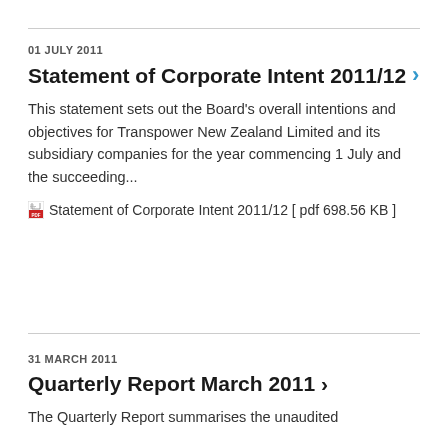01 JULY 2011
Statement of Corporate Intent 2011/12
This statement sets out the Board's overall intentions and objectives for Transpower New Zealand Limited and its subsidiary companies for the year commencing 1 July and the succeeding...
Statement of Corporate Intent 2011/12 [ pdf 698.56 KB ]
31 MARCH 2011
Quarterly Report March 2011
The Quarterly Report summarises the unaudited